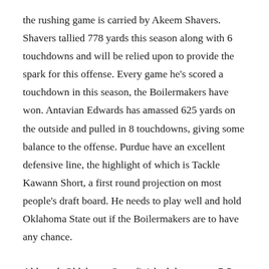the rushing game is carried by Akeem Shavers. Shavers tallied 778 yards this season along with 6 touchdowns and will be relied upon to provide the spark for this offense. Every game he's scored a touchdown in this season, the Boilermakers have won. Antavian Edwards has amassed 625 yards on the outside and pulled in 8 touchdowns, giving some balance to the offense. Purdue have an excellent defensive line, the highlight of which is Tackle Kawann Short, a first round projection on most people's draft board. He needs to play well and hold Oklahoma State out if the Boilermakers are to have any chance.
Although Oklahoma State finished the season 7-5, all five of those losses came at the hands of Bowl-bound teams (3-0 so far with Kansas State and Oklahoma to come) and they did post impressive wins over Texas Tech and TCU. The